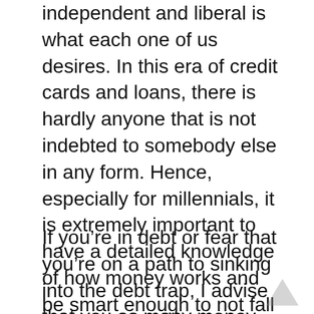Becoming financially secure, independent and liberal is what each one of us desires. In this era of credit cards and loans, there is hardly anyone that is not indebted to somebody else in any form. Hence, especially for millennials, it is extremely important to have a detailed knowledge of how money works and be smart enough to not fall prey to excessive amounts of bad debt.
If you're in debt or fear that you're on a path to sinking into the debt trap, I advise that you as many money